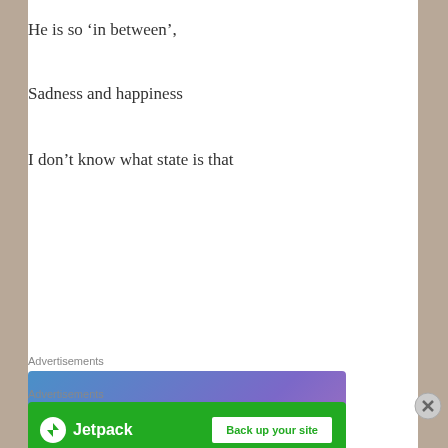He is so ‘in between’,
Sadness and happiness
I don’t know what state is that
[Figure (screenshot): Advertisement banner: 'Simplified pricing for everything you need.' with a Build Your Website button and a price tag image, on a blue-purple gradient background.]
[Figure (screenshot): Advertisement banner: Jetpack logo with 'Back up your site' button on a green background.]